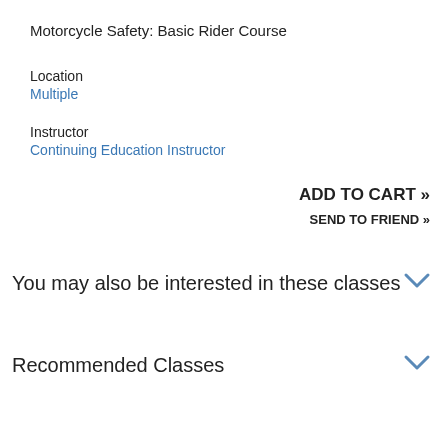Motorcycle Safety: Basic Rider Course
Location
Multiple
Instructor
Continuing Education Instructor
ADD TO CART »
SEND TO FRIEND »
You may also be interested in these classes
Recommended Classes